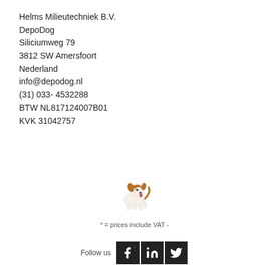Helms Milieutechniek B.V.
DepoDog
Siliciumweg 79
3812 SW Amersfoort
Nederland
info@depodog.nl
(31) 033- 4532288
BTW NL817124007B01
KVK 31042757
[Figure (illustration): Small cartoon dog illustration (Jack Russell terrier style)]
* = prices include VAT -
Follow us